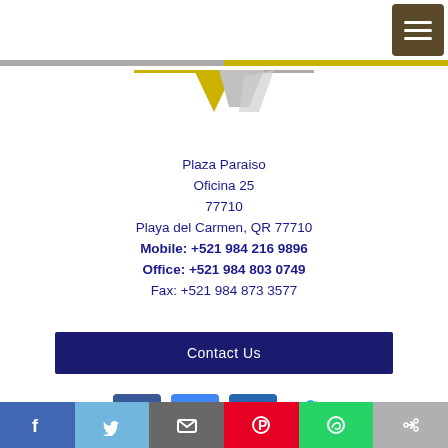[Figure (logo): Yellow and silver/grey geometric diamond/arrow logo above a horizontal stripe]
Plaza Paraiso
Oficina 25
77710
Playa del Carmen, QR 77710
Mobile: +521 984 216 9896
Office: +521 984 803 0749
Fax: +521 984 873 3577
Contact Us
[Figure (infographic): Social media icons row: Facebook (f), Google+ (G+), LinkedIn (in), Twitter bird]
Share bar with Facebook, Twitter, Email, Pinterest, WhatsApp, Link icons